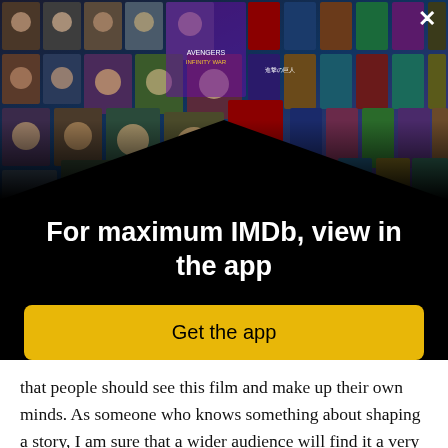[Figure (photo): IMDb app promotional banner showing a collage of celebrity photos and movie poster thumbnails arranged in a 3D perspective grid on a dark background, with an X close button in the top right corner.]
For maximum IMDb, view in the app
Get the app
that people should see this film and make up their own minds. As someone who knows something about shaping a story, I am sure that a wider audience will find it a very competent adventure